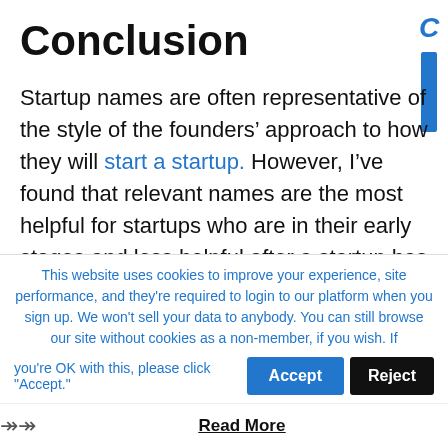Conclusion
Startup names are often representative of the style of the founders’ approach to how they will start a startup. However, I’ve found that relevant names are the most helpful for startups who are in their early stages and less helpful after a startup has reached a critical
This website uses cookies to improve your experience, site performance, and they’re required to login to our platform when you sign up. We won't sell your data to anybody. You can still browse our site without cookies as a non-member, if you wish. If you’re OK with this, please click "Accept."
Read More